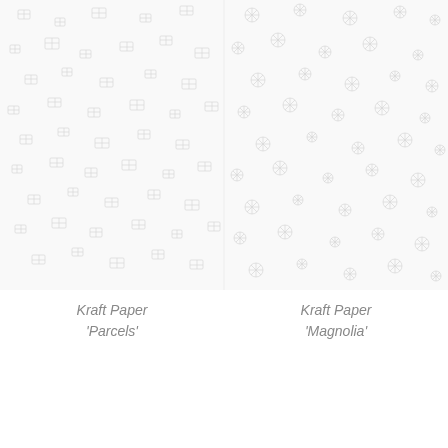[Figure (photo): Two side-by-side wrapping paper pattern samples. Left half shows a repeated small parcel/gift pattern on white background. Right half shows a repeated floral/magnolia pattern on white background.]
Kraft Paper 'Parcels'
Kraft Paper 'Magnolia'